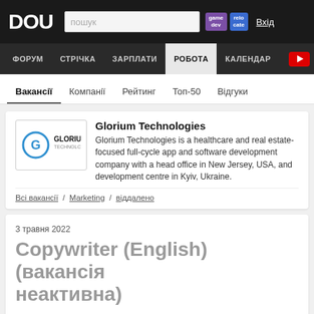DOU — пошук — game dev — relocate — Вхід
ФОРУМ / СТРІЧКА / ЗАРПЛАТИ / РОБОТА / КАЛЕНДАР
Вакансії / Компанії / Рейтинг / Топ-50 / Відгуки
Glorium Technologies
Glorium Technologies is a healthcare and real estate-focused full-cycle app and software development company with a head office in New Jersey, USA, and development centre in Kyiv, Ukraine.
Всі вакансії / Marketing / віддалено
3 травня 2022
Copywriter (English) (вакансія неактивна)
віддалено